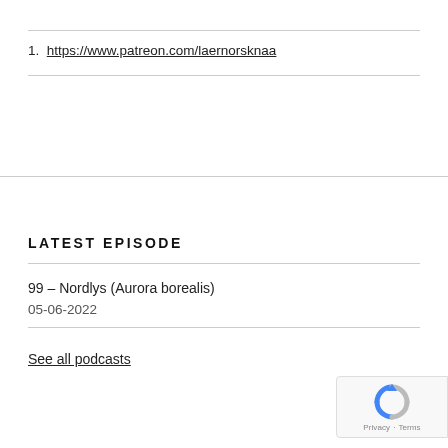1. https://www.patreon.com/laernorsknaa
LATEST EPISODE
99 – Nordlys (Aurora borealis)
05-06-2022
See all podcasts